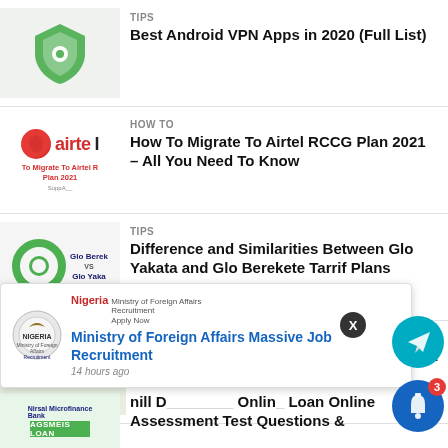[Figure (screenshot): VPN app screenshot thumbnail showing a green shield icon on light background]
TIPS
Best Android VPN Apps in 2020 (Full List)
[Figure (screenshot): Airtel logo thumbnail with red swirl and 'airtel' text, subtitle 'To Migrate To Airtel RCCG Plan 2021']
HOW TO
How To Migrate To Airtel RCCG Plan 2021 – All You Need To Know
[Figure (screenshot): Glo Berekete vs Glo Yakata comparison thumbnail with Glo circle logo]
TIPS
Difference and Similarities Between Glo Yakata and Glo Berekete Tarrif Plans
[Figure (screenshot): Nirsal Microfinance Bank article thumbnail with green background and Nigerian coat of arms]
BUSINESS & LOANS
Nirsal Microfinance Bank Sends Important Notice To N_ Applica_
[Figure (screenshot): Popup notification: Nigeria Ministry of Foreign Affairs Recruitment seal with link text 'Ministry of Foreign Affairs Massive Job Recruitment', 14 hours ago]
nnel
[Figure (screenshot): Telegram channel button (teal circle with paper plane icon)]
[Figure (screenshot): Notification bell button (blue circle with bell icon and red badge showing '3')]
[Figure (screenshot): AGSMEIS Loan thumbnail with Nirsal Microfinance Bank branding]
nill D__________ Onlin_ Loan Online Assessment Test Questions &